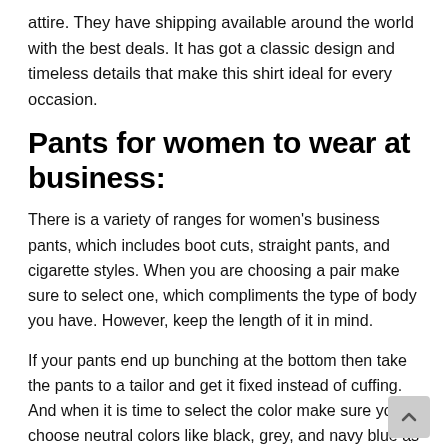attire. They have shipping available around the world with the best deals. It has got a classic design and timeless details that make this shirt ideal for every occasion.
Pants for women to wear at business:
There is a variety of ranges for women’s business pants, which includes boot cuts, straight pants, and cigarette styles. When you are choosing a pair make sure to select one, which compliments the type of body you have. However, keep the length of it in mind.
If your pants end up bunching at the bottom then take the pants to a tailor and get it fixed instead of cuffing. And when it is time to select the color make sure you choose neutral colors like black, grey, and navy blue as they look classy and elegant.
Skirts as business attire for